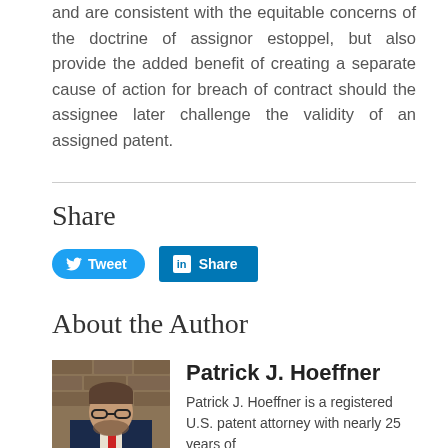and are consistent with the equitable concerns of the doctrine of assignor estoppel, but also provide the added benefit of creating a separate cause of action for breach of contract should the assignee later challenge the validity of an assigned patent.
Share
[Figure (other): Tweet button (Twitter/X social share button) and LinkedIn Share button]
About the Author
[Figure (photo): Headshot photo of Patrick J. Hoeffner, a man in a suit with a red tie, in front of a brick wall background]
Patrick J. Hoeffner
Patrick J. Hoeffner is a registered U.S. patent attorney with nearly 25 years of